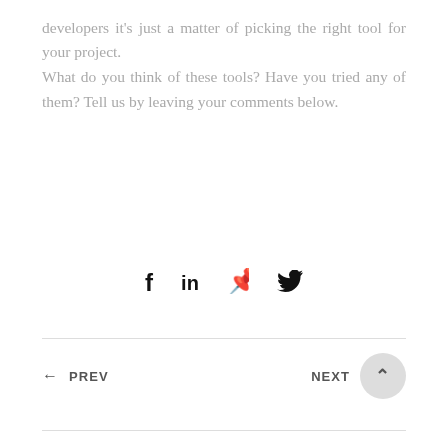developers it’s just a matter of picking the right tool for your project.
What do you think of these tools? Have you tried any of them? Tell us by leaving your comments below.
[Figure (other): Social share icons: Facebook (f), LinkedIn (in), Pinterest (P), Twitter (bird icon)]
← PREV    NEXT ↑